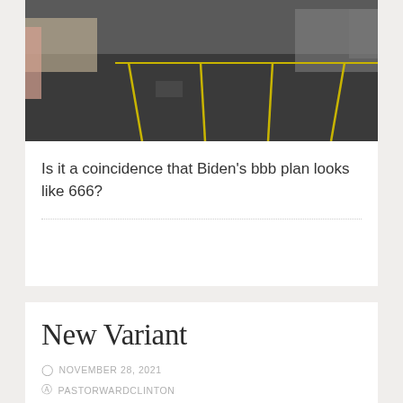[Figure (photo): Aerial or eye-level view of a parking lot with yellow painted parking space lines on dark asphalt, with a building in the background.]
Is it a coincidence that Biden’s bbb plan looks like 666?
New Variant
NOVEMBER 28, 2021
PASTORWARDCLINTON